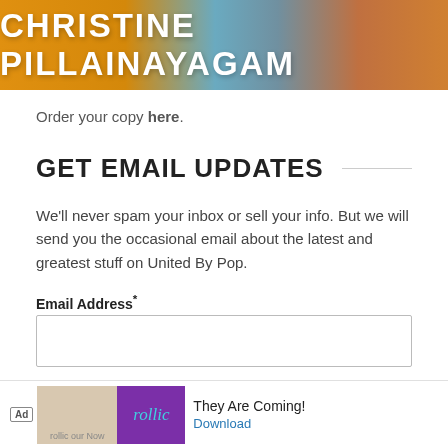[Figure (illustration): Book cover banner showing 'CHRISTINE PILLAINAYAGAM' in large white bold text on an orange/blue/brown background]
Order your copy here.
GET EMAIL UPDATES
We'll never spam your inbox or sell your info. But we will send you the occasional email about the latest and greatest stuff on United By Pop.
Email Address*
First Name
[Figure (screenshot): Ad banner at bottom: 'Ad' label, Rollic game screenshot, purple Rollic logo block, 'They Are Coming!' text, Download link]